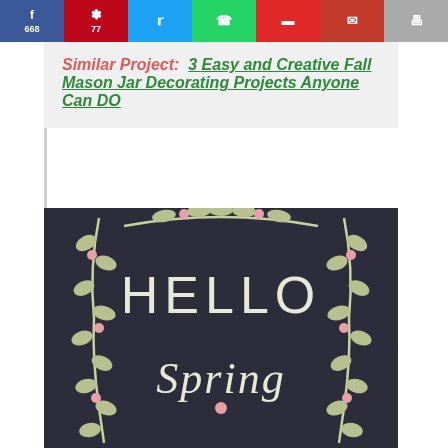Social share bar: Facebook 668, Pinterest 77, Twitter, WhatsApp, Flipboard, Email, Print
Similar Project:  3 Easy and Creative Fall Mason Jar Decorating Projects Anyone Can DO
[Figure (photo): Chalkboard sign with 'HELLO Spring' text surrounded by a decorative wreath of leaves and pink flower buds on a dark chalkboard background]